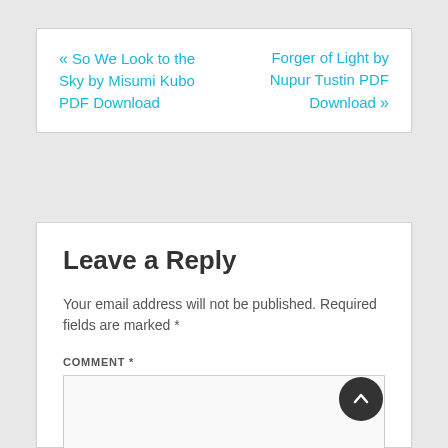« So We Look to the Sky by Misumi Kubo PDF Download
Forger of Light by Nupur Tustin PDF Download »
Leave a Reply
Your email address will not be published. Required fields are marked *
COMMENT *